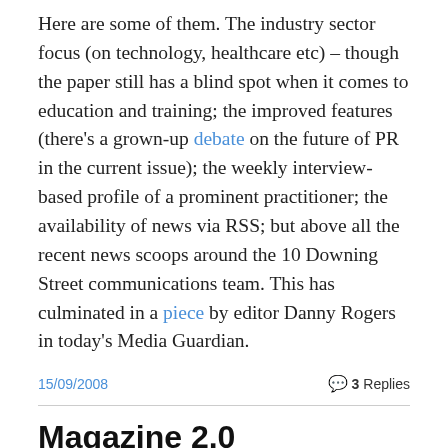Here are some of them. The industry sector focus (on technology, healthcare etc) – though the paper still has a blind spot when it comes to education and training; the improved features (there's a grown-up debate on the future of PR in the current issue); the weekly interview-based profile of a prominent practitioner; the availability of news via RSS; but above all the recent news scoops around the 10 Downing Street communications team. This has culminated in a piece by editor Danny Rogers in today's Media Guardian.
15/09/2008
3 Replies
Magazine 2.0
Now, after a short hiatus, we're publishing